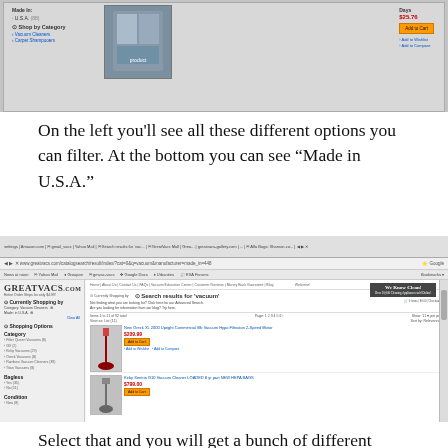[Figure (screenshot): Partial screenshot of a shopping website showing product listings with filter options on left, a product image in center, and price/add to cart on right. Shows 'Made In: U.S.A.' filter and 'Shop by Category' options including 'Vacuum Cleaners' and 'Carpet Shampooers'.]
On the left you'll see all these different options you can filter. At the bottom you can see “Made in U.S.A.”
[Figure (screenshot): Full browser screenshot of GreatVacs.com showing search results for 'vacuum' filtered by Category: Vacuum Cleaners and Made in: U.S.A. Left sidebar shows shopping options including Category (Filter Queen Vacuums, GV, Kirby Vacuums, Oreck Vacuums, Rainbow Vacuum Cleaners, Titan Vacuums), Bagregs (Yes, No), Condition (New). Main area shows product listings including 'New Oreck XL 2000 Upright Commercial 8lb Vacuum Hypo Filtration 2-Speed Motor' at $209.99 and 'Kirby Sentria G10 Vacuum Cleaner LOADED 8 yr part NEW HEPA BAGS' at $799.00.]
Select that and you will get a bunch of different vacuum